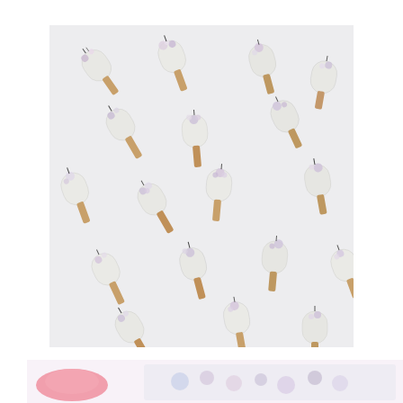[Figure (photo): Overhead flat-lay photograph of approximately 15 white chocolate-dipped unicorn popsicles/ice cream bars arranged diagonally on a light grey-white background. Each popsicle has a wooden stick, white rounded body, and is decorated with small floral arrangements and unicorn horn/ear details in purple, pink, and white tones.]
[Figure (photo): Partial view of a second photograph at the bottom of the page showing colorful floral or decorative items, partially cropped. Pink and multi-colored elements visible.]